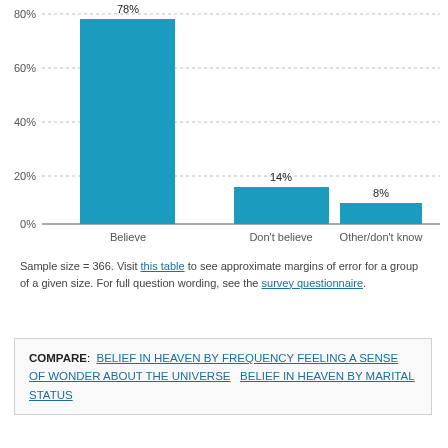[Figure (bar-chart): ]
Sample size = 366. Visit this table to see approximate margins of error for a group of a given size. For full question wording, see the survey questionnaire.
COMPARE: BELIEF IN HEAVEN BY FREQUENCY FEELING A SENSE OF WONDER ABOUT THE UNIVERSE   BELIEF IN HEAVEN BY MARITAL STATUS